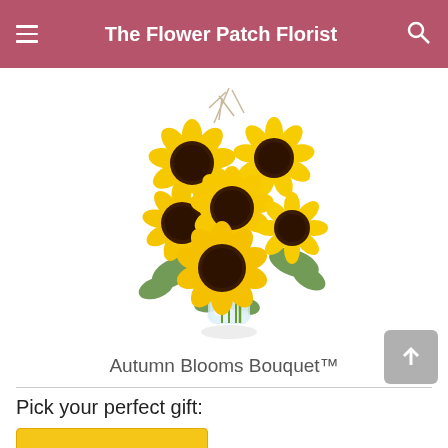The Flower Patch Florist
[Figure (photo): Autumn Blooms Bouquet arrangement with multiple large yellow sunflowers and green foliage in a clear glass vase, with decorative twigs]
Autumn Blooms Bouquet™
Pick your perfect gift: